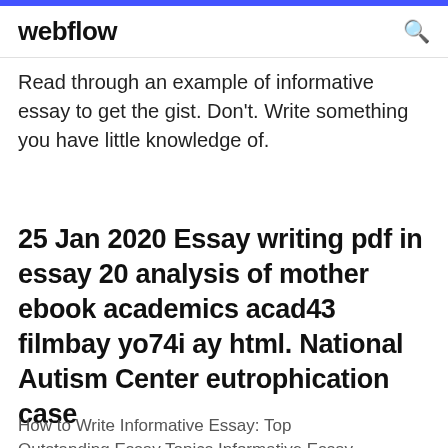webflow
Read through an example of informative essay to get the gist. Don't. Write something you have little knowledge of.
25 Jan 2020 Essay writing pdf in essay 20 analysis of mother ebook academics acad43 filmbay yo74i ay html. National Autism Center eutrophication case
How to Write Informative Essay: Top Outstanding Essay Topics Informative Essay